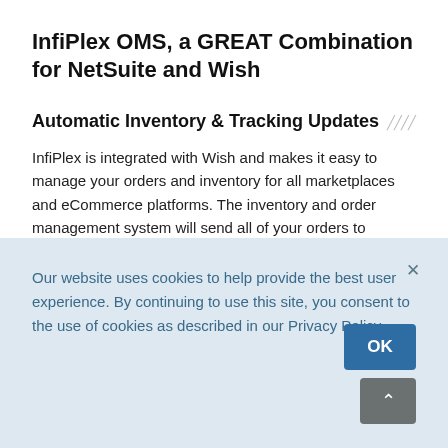InfiPlex OMS, a GREAT Combination for NetSuite and Wish
Automatic Inventory & Tracking Updates
InfiPlex is integrated with Wish and makes it easy to manage your orders and inventory for all marketplaces and eCommerce platforms. The inventory and order management system will send all of your orders to
Our website uses cookies to help provide the best user experience. By continuing to use this site, you consent to the use of cookies as described in our Privacy Policy.